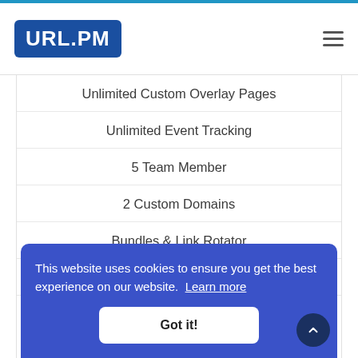[Figure (logo): URL.PM logo with white text on blue rounded rectangle background]
Unlimited Custom Overlay Pages
Unlimited Event Tracking
5 Team Member
2 Custom Domains
Bundles & Link Rotator
Custom Aliases
This website uses cookies to ensure you get the best experience on our website. Learn more
Got it!